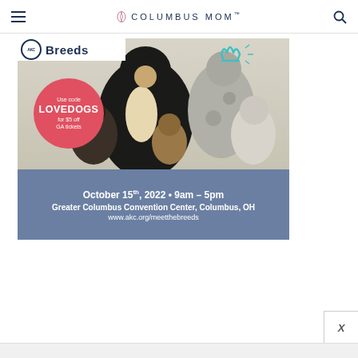Columbus Mom
[Figure (illustration): AKC Meet the Breeds advertisement. Shows multiple dogs (Bernese Mountain Dog, Border Collie, Bulldog, etc.) grouped together. A red/pink circle overlay reads 'Use code LOVEDOGS for $5 off GA tickets'. A teal crown illustration is on the right. Blue-gray banner at bottom reads: October 15th, 2022 • 9am – 5pm / Greater Columbus Convention Center, Columbus, OH / www.akc.org/meetthebreeds]
October 15th, 2022 • 9am – 5pm · Greater Columbus Convention Center, Columbus, OH · www.akc.org/meetthebreeds